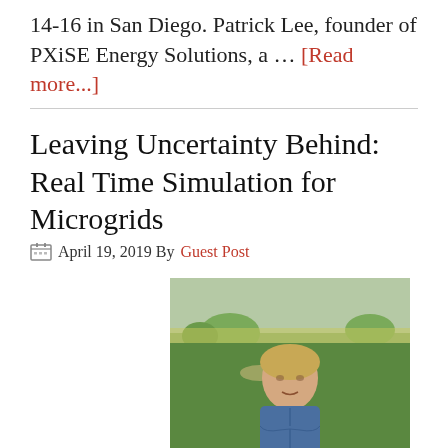14-16 in San Diego. Patrick Lee, founder of PXiSE Energy Solutions, a … [Read more...]
Leaving Uncertainty Behind: Real Time Simulation for Microgrids
April 19, 2019 By Guest Post
[Figure (photo): Portrait photo of a woman with blonde hair wearing a blue denim shirt, standing outdoors in a green field with yellow wildflowers in the background]